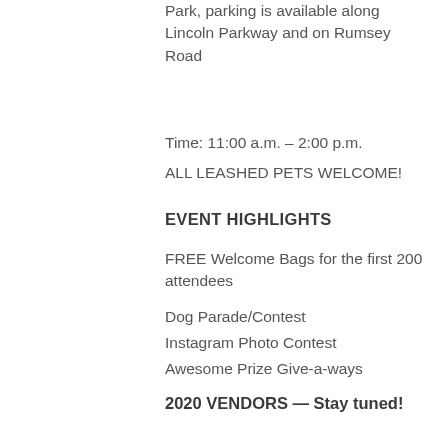Park, parking is available along Lincoln Parkway and on Rumsey Road
Time: 11:00 a.m. – 2:00 p.m.
ALL LEASHED PETS WELCOME!
EVENT HIGHLIGHTS
FREE Welcome Bags for the first 200 attendees
Dog Parade/Contest
Instagram Photo Contest
Awesome Prize Give-a-ways
2020 VENDORS — Stay tuned!
DOG PARADE — Stay tuned!